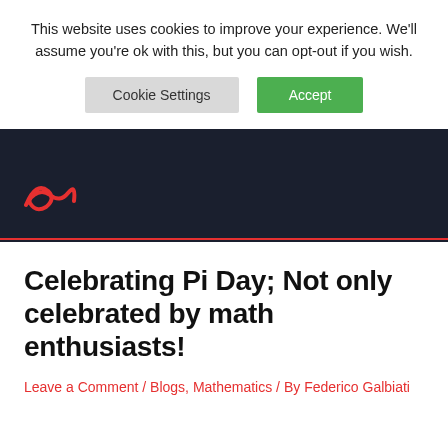This website uses cookies to improve your experience. We'll assume you're ok with this, but you can opt-out if you wish.
Cookie Settings | Accept
[Figure (logo): Red stylized logo on dark navigation header]
Celebrating Pi Day; Not only celebrated by math enthusiasts!
Leave a Comment / Blogs, Mathematics / By Federico Galbiati